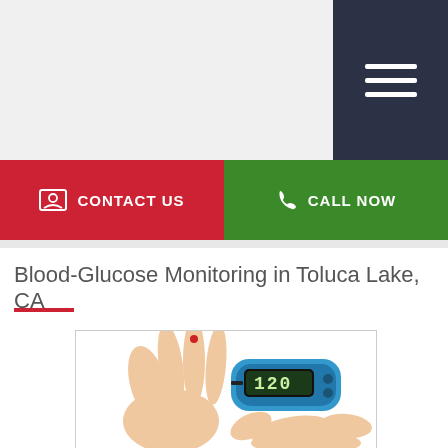[Figure (screenshot): Navigation hamburger menu icon (three white lines) on dark navy background]
CONTACT US
CALL NOW
Blood-Glucose Monitoring in Toluca Lake, CA
[Figure (photo): Hands holding a blue glucometer device showing reading 120, with fingertip being pricked for blood glucose testing]